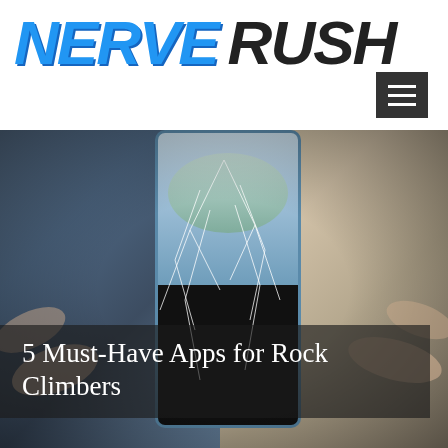NERVE RUSH
[Figure (photo): Person holding a cracked smartphone screen against a rocky outdoor background with rock climbing gear visible]
5 Must-Have Apps for Rock Climbers